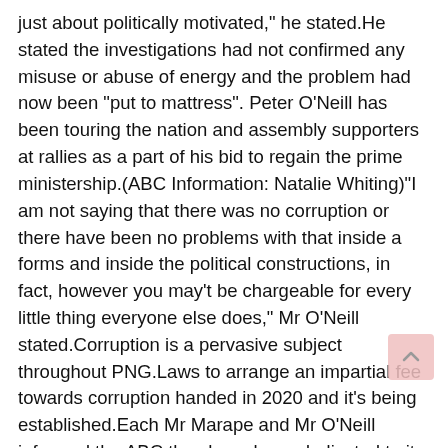just about politically motivated," he stated.He stated the investigations had not confirmed any misuse or abuse of energy and the problem had now been "put to mattress". Peter O'Neill has been touring the nation and assembly supporters at rallies as a part of his bid to regain the prime ministership.(ABC Information: Natalie Whiting)"I am not saying that there was no corruption or there have been no problems with that inside a forms and inside the political constructions, in fact, however you may't be chargeable for every little thing everyone else does," Mr O'Neill stated.Corruption is a pervasive subject throughout PNG.Laws to arrange an impartial fee towards corruption handed in 2020 and it's being established.Each Mr Marape and Mr O'Neill informed the ABC they have been dedicated to it and to funding it correctly.Papua New Guineans will head to the polls in July. Three weeks have been put aside for voting and one week for counting. Voting for the nationwide election in PNG will start in lower than a fortnight.(ABC Information: Eric Tlozek)After the counting, the newly elected MPs will go into camps to type coalitions earlier than the make-up of the brand new authorities is revealed. These coalitions might show…